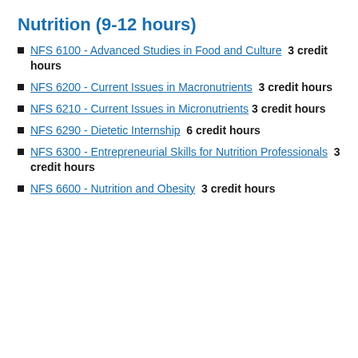Nutrition (9-12 hours)
NFS 6100 - Advanced Studies in Food and Culture  3 credit hours
NFS 6200 - Current Issues in Macronutrients  3 credit hours
NFS 6210 - Current Issues in Micronutrients  3 credit hours
NFS 6290 - Dietetic Internship  6 credit hours
NFS 6300 - Entrepreneurial Skills for Nutrition Professionals  3 credit hours
NFS 6600 - Nutrition and Obesity  3 credit hours